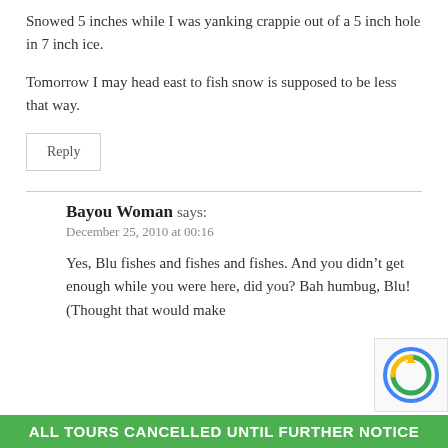Snowed 5 inches while I was yanking crappie out of a 5 inch hole in 7 inch ice.
Tomorrow I may head east to fish snow is supposed to be less that way.
Reply
Bayou Woman says:
December 25, 2010 at 00:16
Yes, Blu fishes and fishes and fishes. And you didn’t get enough while you were here, did you? Bah humbug, Blu! (Thought that would make
ALL TOURS CANCELLED UNTIL FURTHER NOTICE